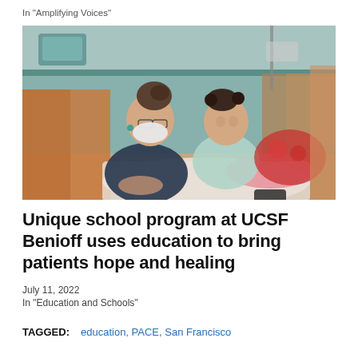In "Amplifying Voices"
[Figure (photo): A woman wearing glasses and a face mask posing with a young girl in a hospital bed, surrounded by medical equipment in a clinical room.]
Unique school program at UCSF Benioff uses education to bring patients hope and healing
July 11, 2022
In "Education and Schools"
TAGGED:   education, PACE, San Francisco